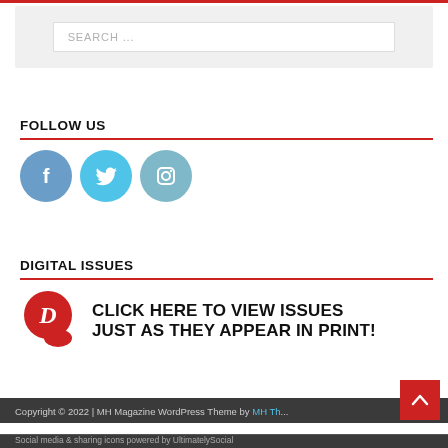[Figure (screenshot): Search bar UI element with light gray background and white input field containing placeholder text 'SEARCH ...']
FOLLOW US
[Figure (illustration): Three social media icon circles: Facebook (blue-gray), Twitter (light blue), Instagram (blue-gray)]
DIGITAL ISSUES
[Figure (logo): Red circular logo with letter D and speech bubble, followed by bold uppercase text: CLICK HERE TO VIEW ISSUES JUST AS THEY APPEAR IN PRINT!]
Copyright © 2022 | MH Magazine WordPress Theme by MH Th...
Social media & sharing icons powered by UltimatelySocial